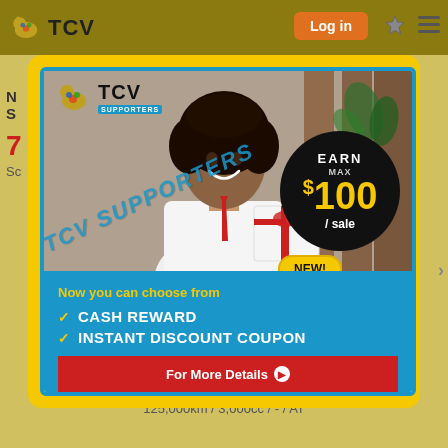TCV | Log in
[Figure (infographic): TCV Supporters advertisement popup with yellow border. Shows a man holding a gift box, TCV Supporters logo, diagonal 'TCV SUPPORTERS' text, black circle with 'EARN MAX $100 / sale', NEW badge, blue section with 'Now you can choose from', checkmarks for 'CASH REWARD' and 'INSTANT DISCOUNT COUPON', and red 'For More Details' button.]
125,000km / 3,000cc / - / AT